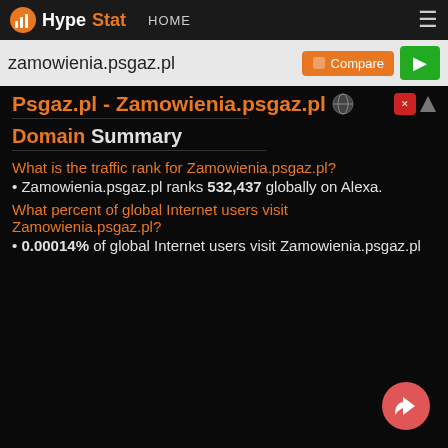HypeStat HOME
zamowienia.psgaz.pl
Psgaz.pl - Zamowienia.psgaz.pl
Domain Summary
What is the traffic rank for Zamowienia.psgaz.pl?
Zamowienia.psgaz.pl ranks 532,437 globally on Alexa.
What percent of global Internet users visit Zamowienia.psgaz.pl?
0.00014% of global Internet users visit Zamowienia.psgaz.pl